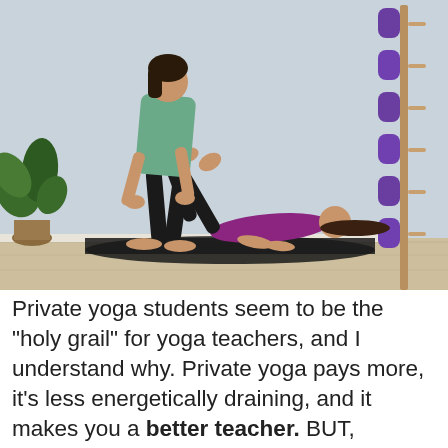[Figure (photo): A yoga instructor (woman in teal top and black pants) standing and assisting a student (woman in purple top and black pants) who is lying on a black yoga mat on the floor. Several purple yoga mats are stored on a wall-mounted wooden rack on the right. A green leafy plant is visible on the left. The room has light blue/grey walls and a light wood floor.]
Private yoga students seem to be the "holy grail" for yoga teachers, and I understand why. Private yoga pays more, it's less energetically draining, and it makes you a better teacher. BUT, here's... [Read more...]